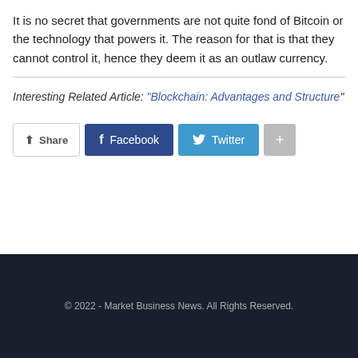It is no secret that governments are not quite fond of Bitcoin or the technology that powers it. The reason for that is that they cannot control it, hence they deem it as an outlaw currency.
Interesting Related Article: “Blockchain: Advantages and Structure”
© 2022 - Market Business News. All Rights Reserved.